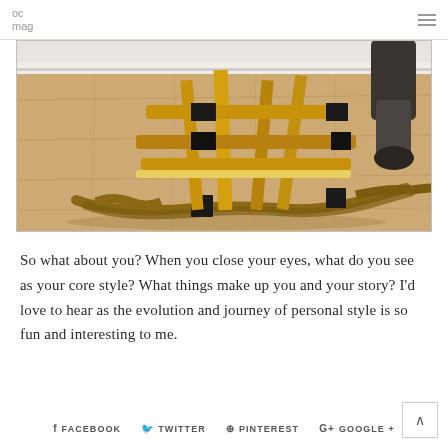oc mag
[Figure (photo): A wooden rocking horse on a hardwood floor, viewed from the side showing the rockers and a child's leg/foot. The horse appears vintage or handmade with black tape/straps visible.]
So what about you? When you close your eyes, what do you see as your core style? What things make up you and your story? I'd love to hear as the evolution and journey of personal style is so fun and interesting to me.
FACEBOOK  TWITTER  PINTEREST  GOOGLE +